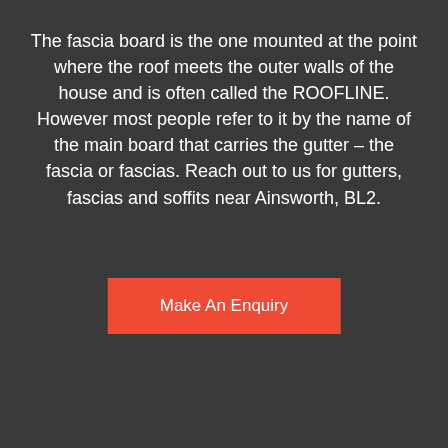The fascia board is the one mounted at the point where the roof meets the outer walls of the house and is often called the ROOFLINE. However most people refer to it by the name of the main board that carries the gutter – the fascia or fascias. Reach out to us for gutters, fascias and soffits near Ainsworth, BL2.
Make An Enquiry